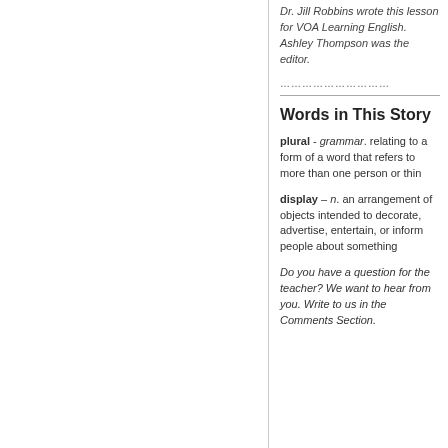Dr. Jill Robbins wrote this lesson for VOA Learning English. Ashley Thompson was the editor.
…………………………
Words in This Story
plural - grammar. relating to a form of a word that refers to more than one person or thin
display – n. an arrangement of objects intended to decorate, advertise, entertain, or inform people about something
Do you have a question for the teacher? We want to hear from you. Write to us in the Comments Section.